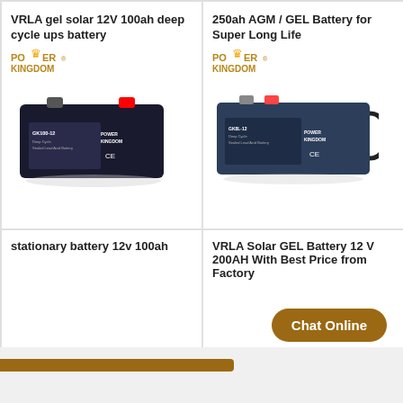VRLA gel solar 12V 100ah deep cycle ups battery
[Figure (photo): Power Kingdom brand black rectangular deep cycle sealed lead acid battery GK100-12]
250ah AGM / GEL Battery for Super Long Life
[Figure (photo): Power Kingdom brand dark blue/black large rectangular GEL battery]
stationary battery 12v 100ah
VRLA Solar GEL Battery 12 V 200AH With Best Price from Factory